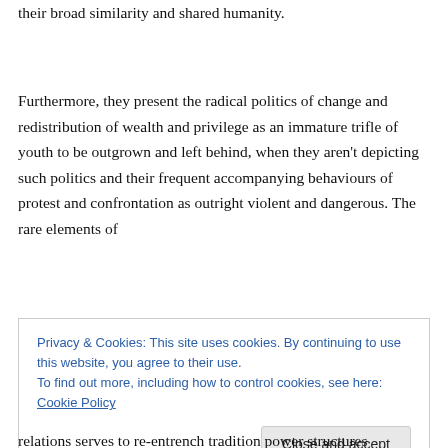their broad similarity and shared humanity.
Furthermore, they present the radical politics of change and redistribution of wealth and privilege as an immature trifle of youth to be outgrown and left behind, when they aren't depicting such politics and their frequent accompanying behaviours of protest and confrontation as outright violent and dangerous. The rare elements of
Privacy & Cookies: This site uses cookies. By continuing to use this website, you agree to their use.
To find out more, including how to control cookies, see here: Cookie Policy
relations serves to re-entrench tradition power structures